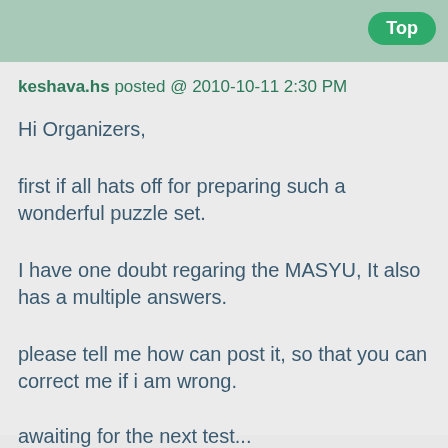Top
keshava.hs posted @ 2010-10-11 2:30 PM
Hi Organizers,
first if all hats off for preparing such a wonderful puzzle set.
I have one doubt regaring the MASYU, It also has a multiple answers.
please tell me how can post it, so that you can correct me if i am wrong.
awaiting for the next test...